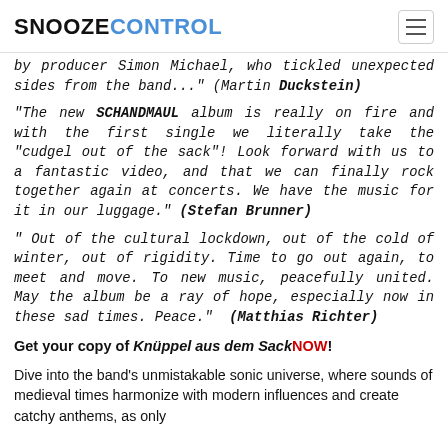SNOOZECONTROL
by producer Simon Michael, who tickled unexpected sides from the band..." (Martin Duckstein)
"The new SCHANDMAUL album is really on fire and with the first single we literally take the "cudgel out of the sack"! Look forward with us to a fantastic video, and that we can finally rock together again at concerts. We have the music for it in our luggage." (Stefan Brunner)
" Out of the cultural lockdown, out of the cold of winter, out of rigidity. Time to go out again, to meet and move. To new music, peacefully united. May the album be a ray of hope, especially now in these sad times. Peace." (Matthias Richter)
Get your copy of Knüppel aus dem SackNOW!
Dive into the band's unmistakable sonic universe, where sounds of medieval times harmonize with modern influences and create catchy anthems, as only